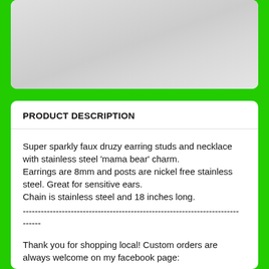[Figure (photo): Partial view of jewelry product on white fluffy background]
PRODUCT DESCRIPTION
Super sparkly faux druzy earring studs and necklace with stainless steel 'mama bear' charm.
Earrings are 8mm and posts are nickel free stainless steel.  Great for sensitive ears.
Chain is stainless steel and 18 inches long.
------------------------------------------------------------------------
------
Thank you for shopping local!  Custom orders are always welcome on my facebook page: